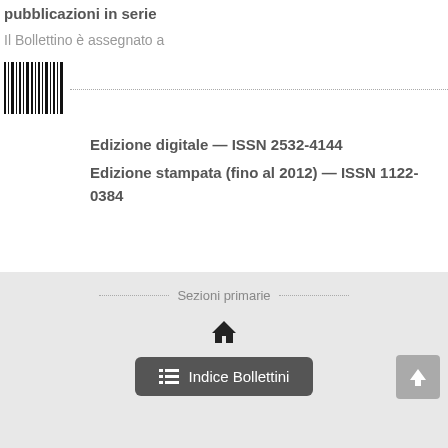pubblicazioni in serie
Il Bollettino è assegnato a
[Figure (other): Barcode image followed by a dotted horizontal line]
Edizione digitale — ISSN 2532-4144
Edizione stampata (fino al 2012) — ISSN 1122-0384
Sezioni primarie
[Figure (other): Home icon]
Indice Bollettini
[Figure (other): Scroll to top button with up arrow]